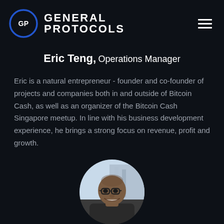GENERAL PROTOCOLS
Eric Teng, Operations Manager
Eric is a natural entrepreneur - founder and co-founder of projects and companies both in and outside of Bitcoin Cash, as well as an organizer of the Bitcoin Cash Singapore meetup. In line with his business development experience, he brings a strong focus on revenue, profit and growth.
[Figure (photo): Circular portrait photo of Eric Teng, a man wearing glasses, smiling, with an urban background visible behind him.]